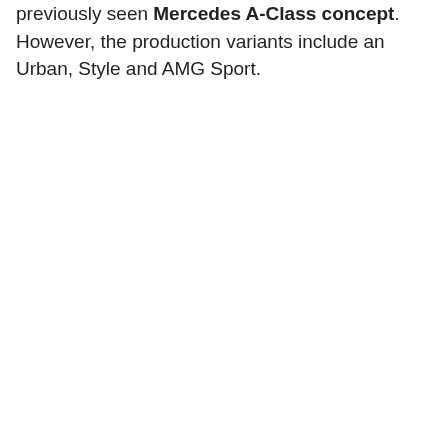The hatch follows the clean aerodynamic styling of the previously seen Mercedes A-Class concept. However, the production variants include an Urban, Style and AMG Sport.